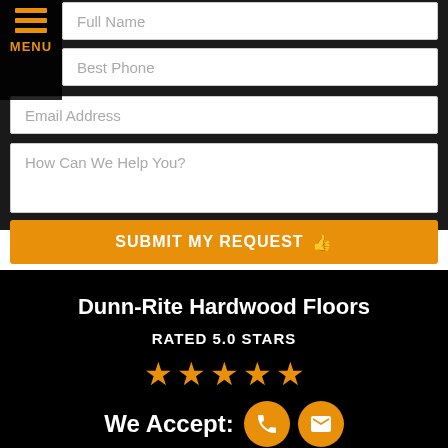Full Name
Best Phone
Email Address
How Can We Help You?
SUBMIT MY REQUEST
Dunn-Rite Hardwood Floors
RATED 5.0 STARS
[Figure (infographic): Five golden star rating icons]
(Based on 7 Client Reviews)
We Accept:
[Figure (infographic): Orange circle phone icon and orange circle email envelope icon]